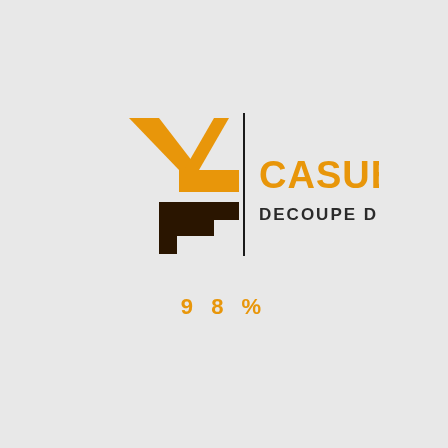[Figure (logo): Casuel Decoupe de Mousse logo: orange Y-shape and dark brown bracket/F-shape on the left, a vertical black dividing line, then orange text CASUEL and dark gray text DECOUPE DE MOUSSE on the right.]
9 8 %